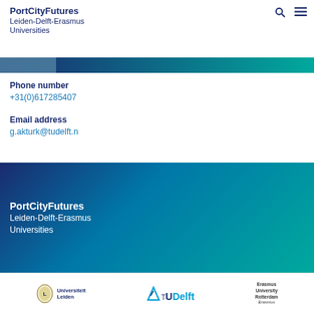PortCityFutures Leiden-Delft-Erasmus Universities
[Figure (photo): Partial image strip visible at top, teal/blue gradient bar]
Phone number
+31(0)617285407
Email address
g.akturk@tudelft.n
[Figure (logo): PortCityFutures Leiden-Delft-Erasmus Universities footer logo on blue-teal gradient background]
[Figure (logo): University logos bar: Universiteit Leiden, TU Delft, Erasmus University Rotterdam]